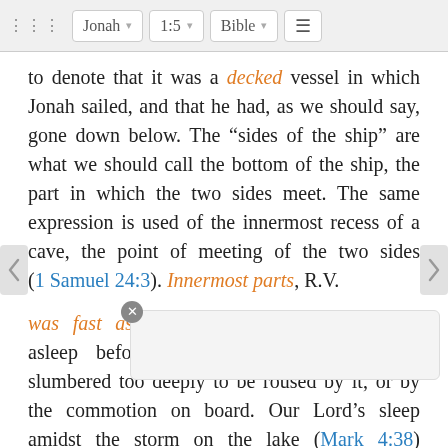Jonah  1:5  Bible
to denote that it was a decked vessel in which Jonah sailed, and that he had, as we should say, gone down below. The “sides of the ship” are what we should call the bottom of the ship, the part in which the two sides meet. The same expression is used of the innermost recess of a cave, the point of meeting of the two sides (1 Samuel 24:3). Innermost parts, R.V.
was fast asleep] Jonah had probably fallen asleep before the storm commenced, and slumbered too deeply to be roused by it, or by the commotion on board. Our Lord’s sleep amidst the storm on the lake (Mark 4:38) furnishes at once a comparison and a contrast. Kalisch quotes in illustration of the heavy [text cut off] es in the G [text cut off] rrow,” Luke [text continues]